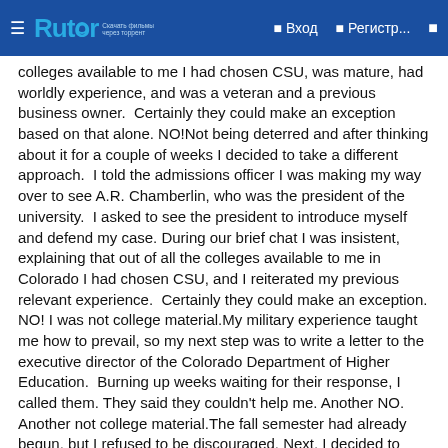Rutor | Вход | Регистр...
colleges available to me I had chosen CSU, was mature, had worldly experience, and was a veteran and a previous business owner.  Certainly they could make an exception based on that alone. NO!Not being deterred and after thinking about it for a couple of weeks I decided to take a different approach.  I told the admissions officer I was making my way over to see A.R. Chamberlin, who was the president of the university.  I asked to see the president to introduce myself and defend my case. During our brief chat I was insistent, explaining that out of all the colleges available to me in Colorado I had chosen CSU, and I reiterated my previous relevant experience.  Certainly they could make an exception. NO! I was not college material.My military experience taught me how to prevail, so my next step was to write a letter to the executive director of the Colorado Department of Higher Education.  Burning up weeks waiting for their response, I called them. They said they couldn't help me. Another NO.  Another not college material.The fall semester had already begun, but I refused to be discouraged. Next, I decided to write to then Colorado Governor John Vanderhoof to introduce myself and my case. I explained my background and